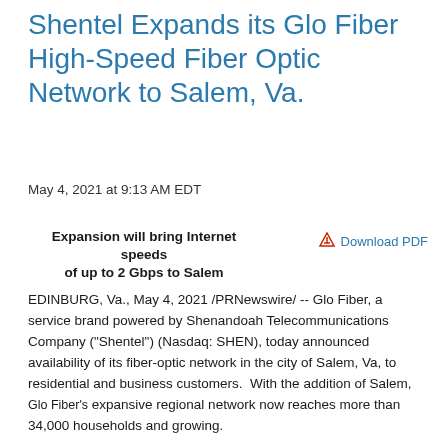Shentel Expands its Glo Fiber High-Speed Fiber Optic Network to Salem, Va.
May 4, 2021 at 9:13 AM EDT
Expansion will bring Internet speeds of up to 2 Gbps to Salem
Download PDF
EDINBURG, Va., May 4, 2021 /PRNewswire/ -- Glo Fiber, a service brand powered by Shenandoah Telecommunications Company ("Shentel") (Nasdaq: SHEN), today announced availability of its fiber-optic network in the city of Salem, Va, to residential and business customers.  With the addition of Salem, Glo Fiber's expansive regional network now reaches more than 34,000 households and growing.